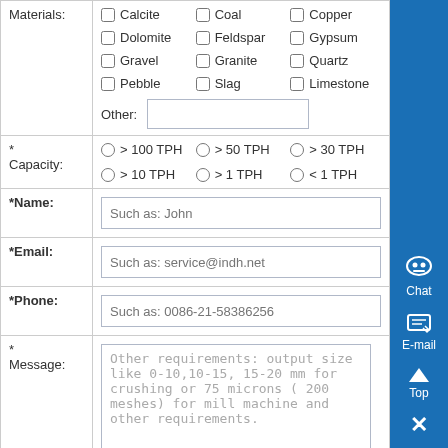| Field | Content |
| --- | --- |
| Materials: | Calcite, Coal, Copper, Dolomite, Feldspar, Gypsum, Gravel, Granite, Quartz, Pebble, Slag, Limestone, Other: [input] |
| * Capacity: | > 100 TPH, > 50 TPH, > 30 TPH, > 10 TPH, > 1 TPH, < 1 TPH |
| *Name: | Such as: John |
| *Email: | Such as: service@indh.net |
| *Phone: | Such as: 0086-21-58386256 |
| * Message: | Other requirements: output size like 0-10,10-15, 15-20 mm for crushing or 75 microns ( 200 meshes) for mill machine and other requirements. |
|  | Submit |